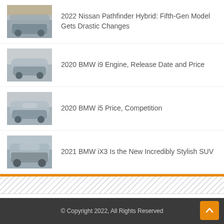2022 Nissan Pathfinder Hybrid: Fifth-Gen Model Gets Drastic Changes
2020 BMW i9 Engine, Release Date and Price
2020 BMW i5 Price, Competition
2021 BMW iX3 Is the New Incredibly Stylish SUV
© Copyright 2022, All Rights Reserved